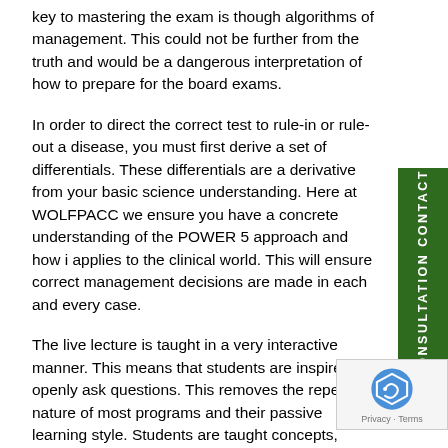key to mastering the exam is though algorithms of management.  This could not be further from the truth and would be a dangerous interpretation of how to prepare for the board exams.
In order to direct the correct test to rule-in or rule-out a disease, you must first derive a set of differentials. These differentials are a derivative from your basic science understanding.  Here at WOLFPACC we ensure you have a concrete understanding of the POWER 5 approach and how it applies to the clinical world.  This will ensure correct management decisions are made in each and every case.
The live lecture is taught in a very interactive manner. This means that students are inspired to openly ask questions.  This removes the repetitive nature of most programs and their passive learning style.  Students are taught concepts, retention techniques, clinical thinking, and not rote memorization. We provide everything students need to succeed and pass the COMLEX Level 2 with high scores.